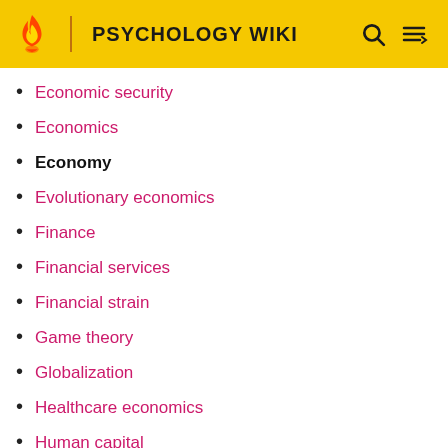PSYCHOLOGY WIKI
Economic security
Economics
Economy
Evolutionary economics
Finance
Financial services
Financial strain
Game theory
Globalization
Healthcare economics
Human capital
Income
Income level
Labor market
Mergers and acquisitions
Microeconomics
Money
Neuroeconomics
Pharmacoeconomics